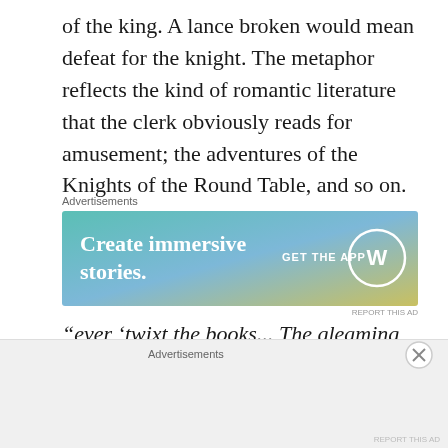of the king. A lance broken would mean defeat for the knight. The metaphor reflects the kind of romantic literature that the clerk obviously reads for amusement; the adventures of the Knights of the Round Table, and so on.
[Figure (other): Advertisement banner: blue-green gradient background with text 'Create immersive stories.' and 'GET THE APP' with WordPress logo]
“ever ‘twixt the books... The gleaming eagles of the legions came ”: the clerk’s imagination goes wild while reading the boring ledger books. Images of marching Roman legions distract
Advertisements